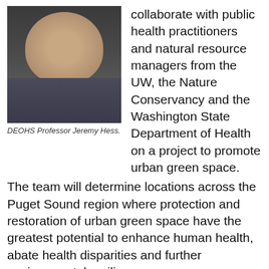[Figure (photo): Headshot of DEOHS Professor Jeremy Hess, a smiling man in a dark jacket and blue shirt against a dark background.]
DEOHS Professor Jeremy Hess.
collaborate with public health practitioners and natural resource managers from the UW, the Nature Conservancy and the Washington State Department of Health on a project to promote urban green space.
The team will determine locations across the Puget Sound region where protection and restoration of urban green space have the greatest potential to enhance human health, abate health disparities and further environmental resilience.
They will develop a GIS-based analysis to